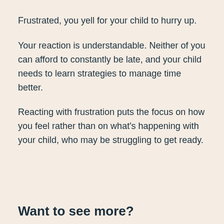Frustrated, you yell for your child to hurry up.
Your reaction is understandable. Neither of you can afford to constantly be late, and your child needs to learn strategies to manage time better.
Reacting with frustration puts the focus on how you feel rather than on what's happening with your child, who may be struggling to get ready.
Want to see more?